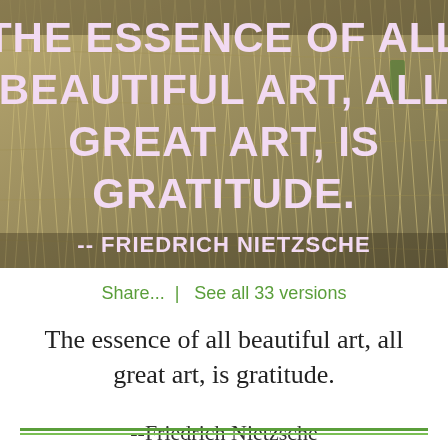[Figure (photo): Background photo of dry tangled grass/moss with overlaid quote text in bold lavender/pink uppercase letters reading: THE ESSENCE OF ALL BEAUTIFUL ART, ALL GREAT ART, IS GRATITUDE. -- FRIEDRICH NIETZSCHE]
Share...  |  See all 33 versions
The essence of all beautiful art, all great art, is gratitude.
--Friedrich Nietzsche